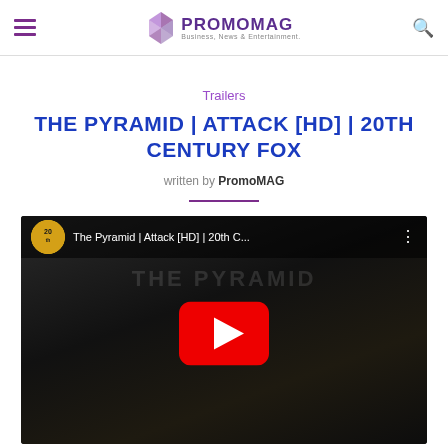PROMOMAG – Business, News & Entertainment.
Trailers
THE PYRAMID | ATTACK [HD] | 20TH CENTURY FOX
written by PromoMAG
[Figure (screenshot): YouTube video embed thumbnail for 'The Pyramid | Attack [HD] | 20th Century Fox' showing a dark underground cave scene with a red YouTube play button overlay and the 20th Century Fox channel icon in the top bar.]